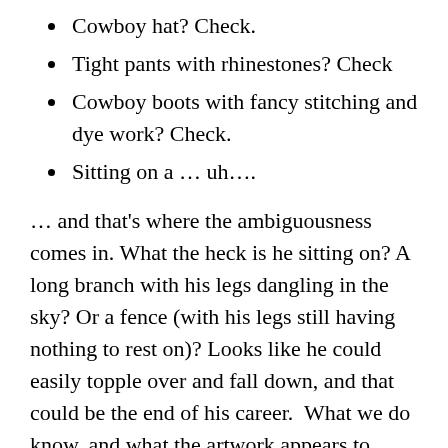Cowboy hat? Check.
Tight pants with rhinestones? Check
Cowboy boots with fancy stitching and dye work? Check.
Sitting on a … uh….
… and that's where the ambiguousness comes in. What the heck is he sitting on? A long branch with his legs dangling in the sky? Or a fence (with his legs still having nothing to rest on)? Looks like he could easily topple over and fall down, and that could be the end of his career.  What we do know, and what the artwork appears to show, is that his right heel is off-camera.  So, if that is the case, then he is sitting on a fence with his feet on the ground. With his legs allowed to rest at that angle, the